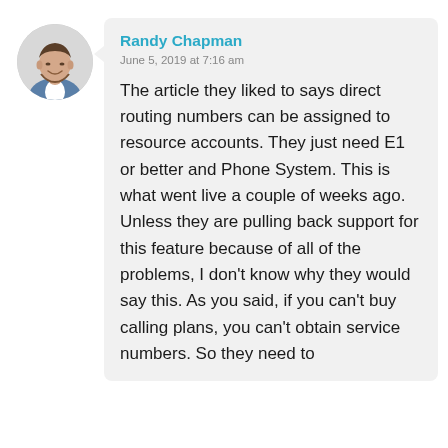[Figure (photo): Circular avatar photo of a man in a suit jacket, smiling, against a light background.]
Randy Chapman
June 5, 2019 at 7:16 am

The article they liked to says direct routing numbers can be assigned to resource accounts. They just need E1 or better and Phone System. This is what went live a couple of weeks ago. Unless they are pulling back support for this feature because of all of the problems, I don't know why they would say this. As you said, if you can't buy calling plans, you can't obtain service numbers. So they need to